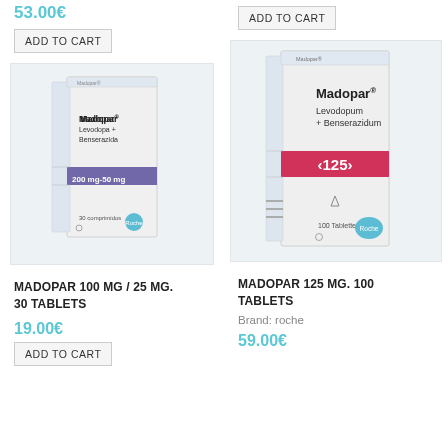53.00€
ADD TO CART
[Figure (photo): Madopar medication box - Levodopa + Benserazida 200 mg-50 mg, 30 comprimidos, Roche]
MADOPAR 100 MG / 25 MG. 30 TABLETS
19.00€
ADD TO CART
ADD TO CART
[Figure (photo): Madopar medication box - Levodopum + Benserazidum 125, 100 Tabletten, Roche]
MADOPAR 125 MG. 100 TABLETS
Brand: roche
59.00€